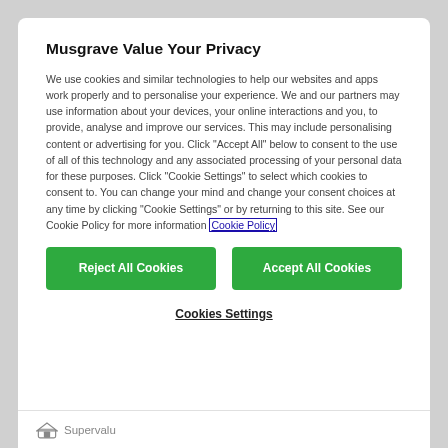Musgrave Value Your Privacy
We use cookies and similar technologies to help our websites and apps work properly and to personalise your experience. We and our partners may use information about your devices, your online interactions and you, to provide, analyse and improve our services. This may include personalising content or advertising for you. Click “Accept All” below to consent to the use of all of this technology and any associated processing of your personal data for these purposes. Click “Cookie Settings” to select which cookies to consent to. You can change your mind and change your consent choices at any time by clicking “Cookie Settings” or by returning to this site. See our Cookie Policy for more information Cookie Policy
Reject All Cookies
Accept All Cookies
Cookies Settings
Supervalu